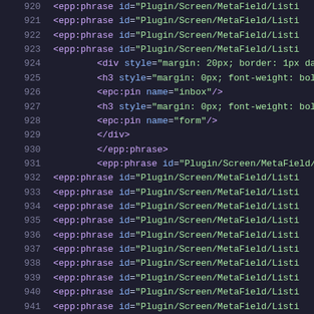920  <epp:phrase id="Plugin/Screen/MetaField/Listi
921  <epp:phrase id="Plugin/Screen/MetaField/Listi
922  <epp:phrase id="Plugin/Screen/MetaField/Listi
923  <epp:phrase id="Plugin/Screen/MetaField/Listi
924      <div style="margin: 20px; border: 1px das
925      <h3 style="margin: 0px; font-weight: bold
926      <epc:pin name="inbox"/>
927      <h3 style="margin: 0px; font-weight: bold
928      <epc:pin name="form"/>
929      </div>
930      </epp:phrase>
931      <epp:phrase id="Plugin/Screen/MetaField/L
932  <epp:phrase id="Plugin/Screen/MetaField/Listi
933  <epp:phrase id="Plugin/Screen/MetaField/Listi
934  <epp:phrase id="Plugin/Screen/MetaField/Listi
935  <epp:phrase id="Plugin/Screen/MetaField/Listi
936  <epp:phrase id="Plugin/Screen/MetaField/Listi
937  <epp:phrase id="Plugin/Screen/MetaField/Listi
938  <epp:phrase id="Plugin/Screen/MetaField/Listi
939  <epp:phrase id="Plugin/Screen/MetaField/Listi
940  <epp:phrase id="Plugin/Screen/MetaField/Listi
941  <epp:phrase id="Plugin/Screen/MetaField/Listi